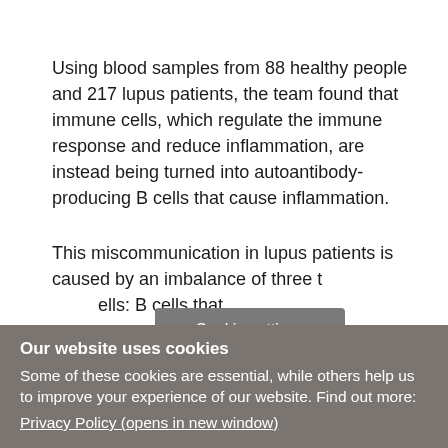Using blood samples from 88 healthy people and 217 lupus patients, the team found that immune cells, which regulate the immune response and reduce inflammation, are instead being turned into autoantibody-producing B cells that cause inflammation.
This miscommunication in lupus patients is caused by an imbalance of three t[ypes of immune c]ells: B cells that [regulate inflammation and...]
Cookie settings
Our website uses cookies
Some of these cookies are essential, while others help us to improve your experience of our website. Find out more:
Privacy Policy (opens in new window)